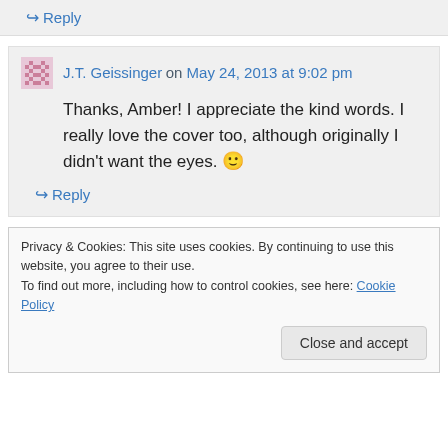↪ Reply
J.T. Geissinger on May 24, 2013 at 9:02 pm
Thanks, Amber! I appreciate the kind words. I really love the cover too, although originally I didn't want the eyes. 🙂
↪ Reply
Privacy & Cookies: This site uses cookies. By continuing to use this website, you agree to their use.
To find out more, including how to control cookies, see here: Cookie Policy
Close and accept